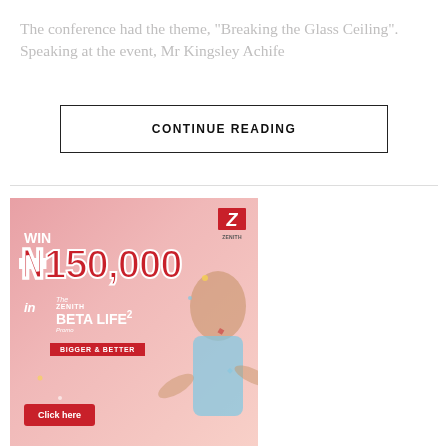The conference had the theme, "Breaking the Glass Ceiling". Speaking at the event, Mr Kingsley Achife
CONTINUE READING
[Figure (illustration): Zenith Bank advertisement: pink background, woman celebrating, WIN ₦150,000 in The Zenith Beta Life Promo 2 - Bigger & Better, Click here button]